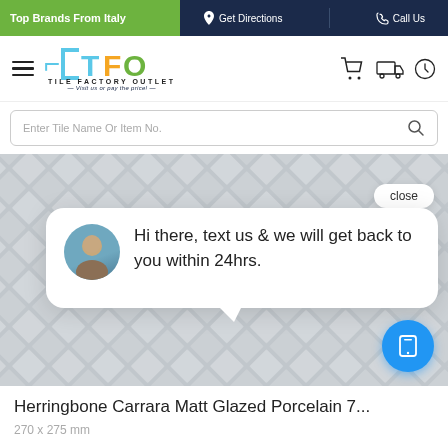Top Brands From Italy | Get Directions | Call Us
[Figure (logo): TFO Tile Factory Outlet logo with tagline 'Visit us or pay the price!']
Enter Tile Name Or Item No.
[Figure (photo): Herringbone Carrara marble tile mosaic pattern in gray/white, with a chat popup overlay reading 'Hi there, text us & we will get back to you within 24hrs.' with a close button and mobile chat button]
Herringbone Carrara Matt Glazed Porcelain 7...
270 x 275 mm